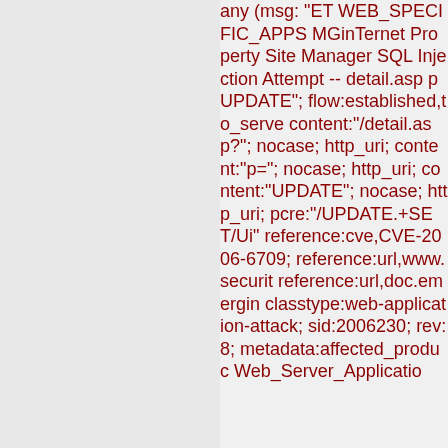any (msg: "ET WEB_SPECIFIC_APPS MGinTernet Property Site Manager SQL Injection Attempt -- detail.asp p UPDATE"; flow:established,to_server; content:"/detail.asp?"; nocase; http_uri; content:"p="; nocase; http_uri; content:"UPDATE"; nocase; http_uri; pcre:"/UPDATE.+SET/Ui"; reference:cve,CVE-2006-6709; reference:url,www.securit reference:url,doc.emergin classtype:web-application-attack; sid:2006230; rev:8; metadata:affected_produc Web_Server_Applicatio